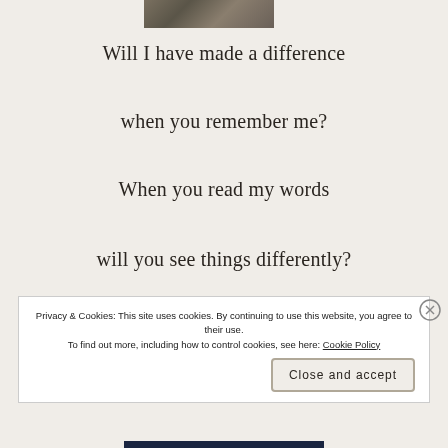[Figure (photo): Partial view of a nature/landscape photo at the top of the page]
Will I have made a difference
when you remember me?
When you read my words
will you see things differently?
Privacy & Cookies: This site uses cookies. By continuing to use this website, you agree to their use. To find out more, including how to control cookies, see here: Cookie Policy
Close and accept